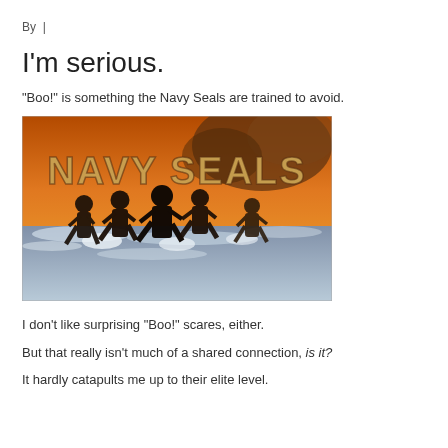By  |
I'm serious.
“Boo!” is something the Navy Seals are trained to avoid.
[Figure (photo): Navy Seals promotional image showing soldiers running through surf with large NAVY SEALS title text and dramatic sky backdrop]
I don’t like surprising “Boo!” scares, either.
But that really isn’t much of a shared connection, is it?
It hardly catapults me up to their elite level.